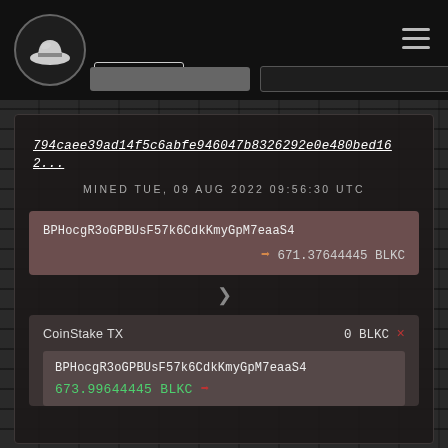EXPLORER
794caee39ad14f5c6abfe946047b8326292e0e480bed162...
MINED TUE, 09 AUG 2022 09:56:30 UTC
BPHocgR3oGPBUsF57k6CdkKmyGpM7eaaS4
➡ 671.37644445 BLKC
CoinStake TX    0 BLKC ×
BPHocgR3oGPBUsF57k6CdkKmyGpM7eaaS4
673.99644445 BLKC ➡